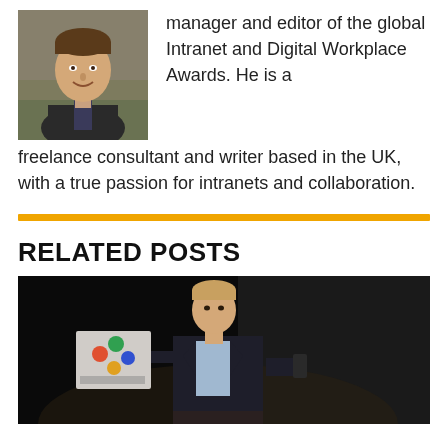[Figure (photo): Headshot of a man in a dark jacket, smiling, outdoors blurred background]
manager and editor of the global Intranet and Digital Workplace Awards. He is a freelance consultant and writer based in the UK, with a true passion for intranets and collaboration.
RELATED POSTS
[Figure (photo): Man in dark suit on stage holding a placard with a colorful logo, against dark background]